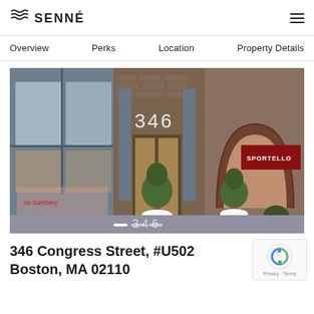SENNÉ
Overview  Perks  Location  Property Details
[Figure (photo): Exterior photo of 346 Congress Street building in Boston, showing brick facade with wood-framed glass entrance doors, number '346' on the building above the entrance, two tall white cylindrical planters with topiaries, and a neighboring arched brick entrance with a Sportello restaurant sign.]
346 Congress Street, #U502
Boston, MA 02110